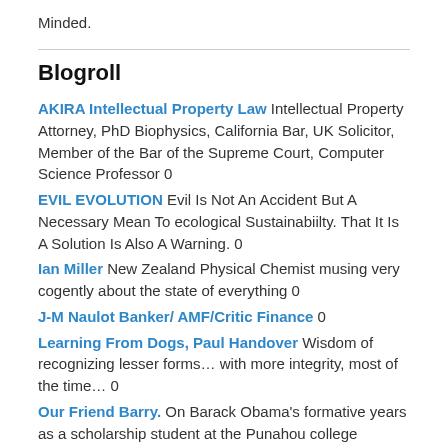Minded.
Blogroll
AKIRA Intellectual Property Law Intellectual Property Attorney, PhD Biophysics, California Bar, UK Solicitor, Member of the Bar of the Supreme Court, Computer Science Professor 0
EVIL EVOLUTION Evil Is Not An Accident But A Necessary Mean To ecological Sustainabiilty. That It Is A Solution Is Also A Warning. 0
Ian Miller New Zealand Physical Chemist musing very cogently about the state of everything 0
J-M Naulot Banker/ AMF/Critic Finance 0
Learning From Dogs, Paul Handover Wisdom of recognizing lesser forms… with more integrity, most of the time… 0
Our Friend Barry. On Barack Obama's formative years as a scholarship student at the Punahou college preparatory school in Hawaii, by his classmates and friends. 0
PAN TERRA: TYRANOSOPHER's SHORT POSTS. Philosophical Rapid Reaction Force. 0